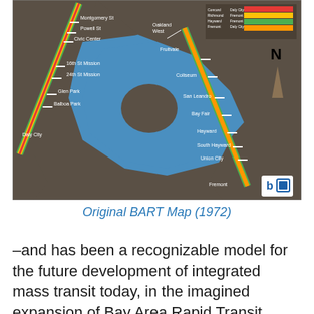[Figure (map): Original BART (Bay Area Rapid Transit) map from 1972 showing transit lines in the San Francisco Bay Area. Dark brown/gray background with blue water areas. Shows stations including Montgomery St, Powell St, Civic Center, 16th St Mission, 24th St Mission, Glen Park, Balboa Park, Daly City on the left line; Oakland West, Fruitvale, Coliseum, San Leandro, Bay Fair, Hayward, South Hayward, Union City, Fremont on the right line. Color-coded lines in red, yellow, and green. North arrow and BART logo visible. Legend in upper right corner.]
Original BART Map (1972)
–and has been a recognizable model for the future development of integrated mass transit today, in the imagined expansion of Bay Area Rapid Transit reaching by 2050 into Marin (purple line) and Silicon Valley.